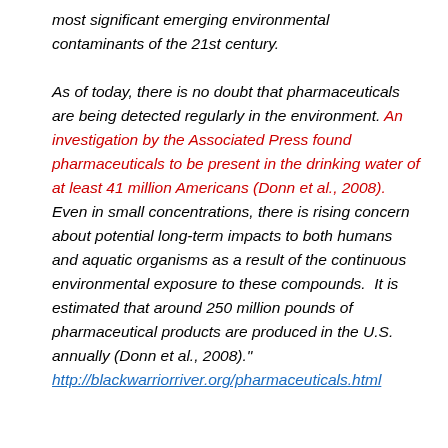most significant emerging environmental contaminants of the 21st century. As of today, there is no doubt that pharmaceuticals are being detected regularly in the environment. An investigation by the Associated Press found pharmaceuticals to be present in the drinking water of at least 41 million Americans (Donn et al., 2008). Even in small concentrations, there is rising concern about potential long-term impacts to both humans and aquatic organisms as a result of the continuous environmental exposure to these compounds.  It is estimated that around 250 million pounds of pharmaceutical products are produced in the U.S. annually (Donn et al., 2008)." http://blackwarriorriver.org/pharmaceuticals.html